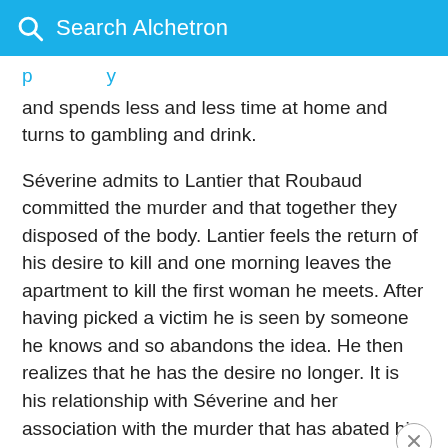Search Alchetron
and spends less and less time at home and turns to gambling and drink.
Séverine admits to Lantier that Roubaud committed the murder and that together they disposed of the body. Lantier feels the return of his desire to kill and one morning leaves the apartment to kill the first woman he meets. After having picked a victim he is seen by someone he knows and so abandons the idea. He then realizes that he has the desire no longer. It is his relationship with Séverine and her association with the murder that has abated his desire.
The relationship between Roubaud and his wife...